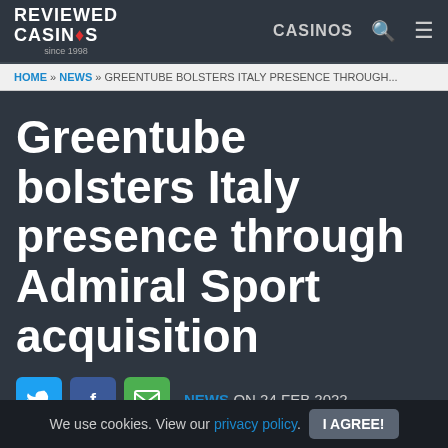REVIEWED CASINOS since 1998 | CASINOS
HOME » NEWS » GREENTUBE BOLSTERS ITALY PRESENCE THROUGH...
Greentube bolsters Italy presence through Admiral Sport acquisition
NEWS ON 24 FEB 2022
We use cookies. View our privacy policy. I AGREE!